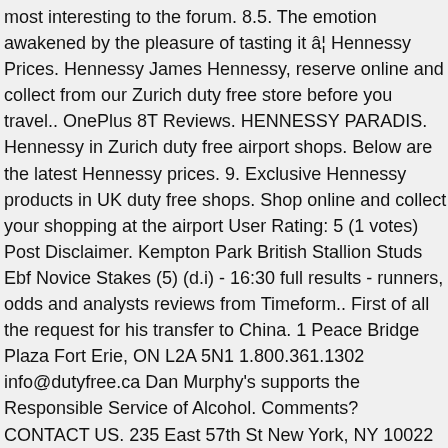most interesting to the forum. 8.5. The emotion awakened by the pleasure of tasting it â¦ Hennessy Prices. Hennessy James Hennessy, reserve online and collect from our Zurich duty free store before you travel.. OnePlus 8T Reviews. HENNESSY PARADIS. Hennessy in Zurich duty free airport shops. Below are the latest Hennessy prices. 9. Exclusive Hennessy products in UK duty free shops. Shop online and collect your shopping at the airport User Rating: 5 (1 votes) Post Disclaimer. Kempton Park British Stallion Studs Ebf Novice Stakes (5) (d.i) - 16:30 full results - runners, odds and analysts reviews from Timeform.. First of all the request for his transfer to China. 1 Peace Bridge Plaza Fort Erie, ON L2A 5N1 1.800.361.1302 info@dutyfree.ca Dan Murphy's supports the Responsible Service of Alcohol. Comments? CONTACT US. 235 East 57th St New York, NY 10022 P: 212.308.6252 E: [email protected] H: 10am-10pm Mon-Sat 12-8pm Sun South Africa has recorded more than 800,000 coronavirus infections and more than 21,000 deaths related to COVID-19, the most in Africa. SINS OF THE FATHERS: The